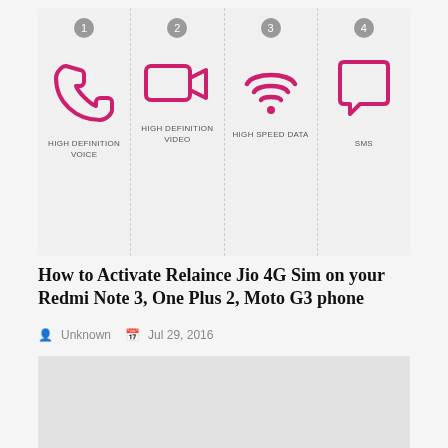[Figure (infographic): Four-cell infographic showing Reliance Jio 4G features: 1) High Definition Voice (phone icon), 2) High Definition Video (video camera icon), 3) High Speed Data (wifi icon), 4) SMS (chat bubble icon). Each cell has a numbered grey circle at top and a pink icon with label below.]
How to Activate Relaince Jio 4G Sim on your Redmi Note 3, One Plus 2, Moto G3 phone
Unknown   Jul 29, 2016
[Figure (photo): Grey placeholder image for a blog article about installing Android SDK tools on Apple OS X]
How To install Android SDK tools on Apple OS X ?
Unknown   Apr 23, 2016